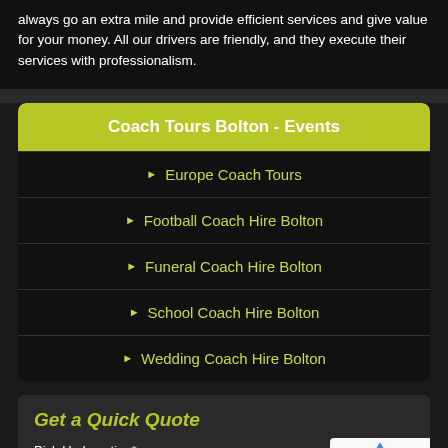always go an extra mile and provide efficient services and give value for your money. All our drivers are friendly, and they execute their services with professionalism.
Coach Tours Bolton - Events
Europe Coach Tours
Football Coach Hire Bolton
Funeral Coach Hire Bolton
School Coach Hire Bolton
Wedding Coach Hire Bolton
Get a Quick Quote
Pick Up Location*